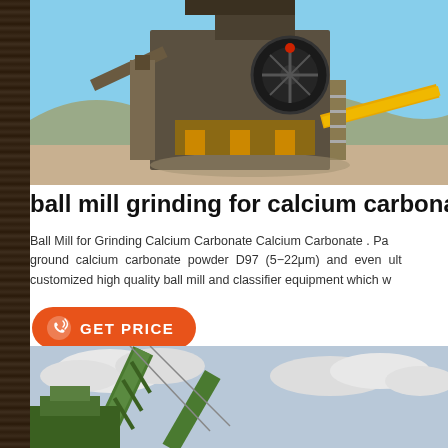[Figure (photo): Industrial jaw crusher / stone crushing machine on a construction/mining site with blue sky background, large mechanical wheel and conveyor belts visible.]
ball mill grinding for calcium carbonat...
Ball Mill for Grinding Calcium Carbonate Calcium Carbonate . Pa... ground calcium carbonate powder D97 (5-22μm) and even ult... customized high quality ball mill and classifier equipment which w...
[Figure (photo): Green industrial crane or mining equipment photographed from below against a cloudy sky.]